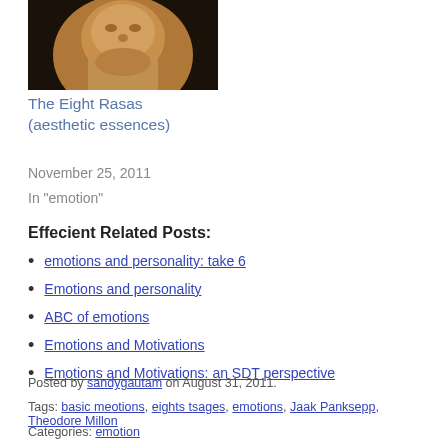[Figure (photo): Photo of a person, appears to be an elderly individual, dark background with warm tones]
The Eight Rasas (aesthetic essences)
November 25, 2011
In "emotion"
Effecient Related Posts:
emotions and personality: take 6
Emotions and personality
ABC of emotions
Emotions and Motivations
Emotions and Motivations: an SDT perspective
Posted by sandygautam on August 31, 2011.
Tags: basic meotions, eights tsages, emotions, Jaak Panksepp, Theodore Millon
Categories: emotion